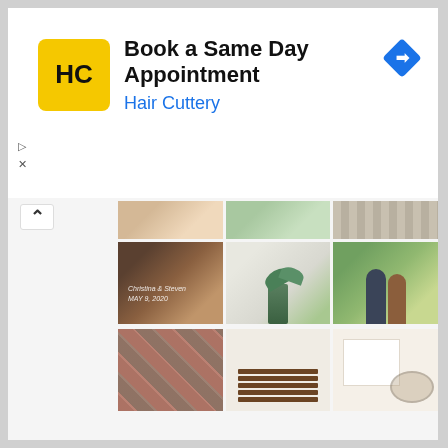[Figure (screenshot): Hair Cuttery advertisement banner with yellow HC logo, title 'Book a Same Day Appointment', subtitle 'Hair Cuttery' in blue, and a blue navigation arrow icon on the right. Ad controls (triangle and X) on the left.]
[Figure (photo): Grid of 6 lifestyle/home photos: wedding invitation with candle, bright white room with plant, couple standing by pond, stone pavers, wooden stacked box on white surface, white stationery with seeds. Plus partial top row of 3 photos.]